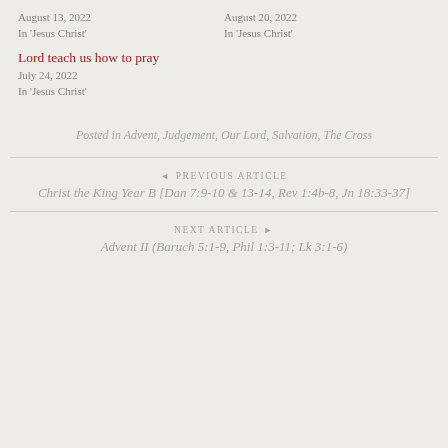August 13, 2022
In 'Jesus Christ'
August 20, 2022
In 'Jesus Christ'
Lord teach us how to pray
July 24, 2022
In 'Jesus Christ'
Posted in Advent, Judgement, Our Lord, Salvation, The Cross
◄ PREVIOUS ARTICLE
Christ the King Year B [Dan 7:9-10 & 13-14, Rev 1:4b-8, Jn 18:33-37]
NEXT ARTICLE ►
Advent II (Baruch 5:1-9, Phil 1:3-11; Lk 3:1-6)